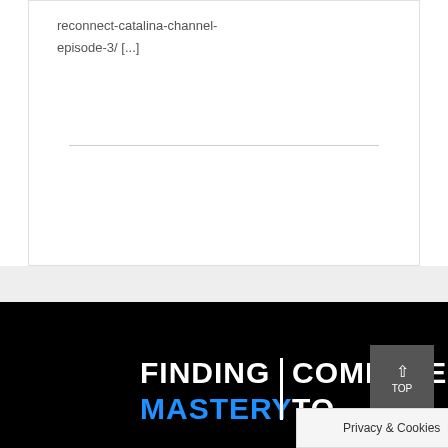reconnect-catalina-channel-episode-3/ [...]
[Figure (logo): Finding Mastery | Compete To logo in white and blue on black background]
Privacy & Cookies Policy